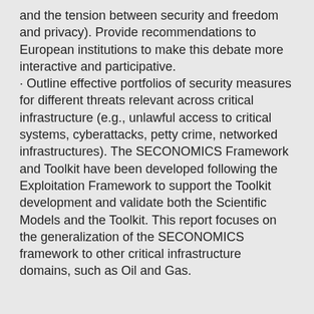and the tension between security and freedom and privacy). Provide recommendations to European institutions to make this debate more interactive and participative. · Outline effective portfolios of security measures for different threats relevant across critical infrastructure (e.g., unlawful access to critical systems, cyberattacks, petty crime, networked infrastructures). The SECONOMICS Framework and Toolkit have been developed following the Exploitation Framework to support the Toolkit development and validate both the Scientific Models and the Toolkit. This report focuses on the generalization of the SECONOMICS framework to other critical infrastructure domains, such as Oil and Gas.